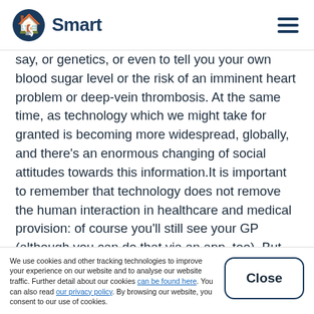Smart
say, or genetics, or even to tell you your own blood sugar level or the risk of an imminent heart problem or deep-vein thrombosis. At the same time, as technology which we might take for granted is becoming more widespread, globally, and there's an enormous changing of social attitudes towards this information.It is important to remember that technology does not remove the human interaction in healthcare and medical provision: of course you'll still see your GP (although you can do that via an app, too). But innovation should continue to complement and empower your doctor rather than replace them. The
We use cookies and other tracking technologies to improve your experience on our website and to analyse our website traffic. Further detail about our cookies can be found here. You can also read our privacy policy. By browsing our website, you consent to our use of cookies.